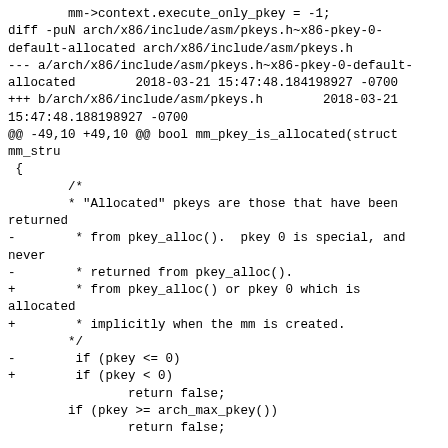mm->context.execute_only_pkey = -1;
diff -puN arch/x86/include/asm/pkeys.h~x86-pkey-0-default-allocated arch/x86/include/asm/pkeys.h
--- a/arch/x86/include/asm/pkeys.h~x86-pkey-0-default-allocated	2018-03-21 15:47:48.184198927 -0700
+++ b/arch/x86/include/asm/pkeys.h	2018-03-21 15:47:48.188198927 -0700
@@ -49,10 +49,10 @@ bool mm_pkey_is_allocated(struct mm_stru
 {
 	/*
 	 * "Allocated" pkeys are those that have been returned
-	 * from pkey_alloc().  pkey 0 is special, and never
-	 * returned from pkey_alloc().
+	 * from pkey_alloc() or pkey 0 which is allocated
+	 * implicitly when the mm is created.
 	 */
-	if (pkey <= 0)
+	if (pkey < 0)
 		return false;
 	if (pkey >= arch_max_pkey())
 		return false;
 _
^ permalink raw reply  [flat|nested] 26+ messages in thread